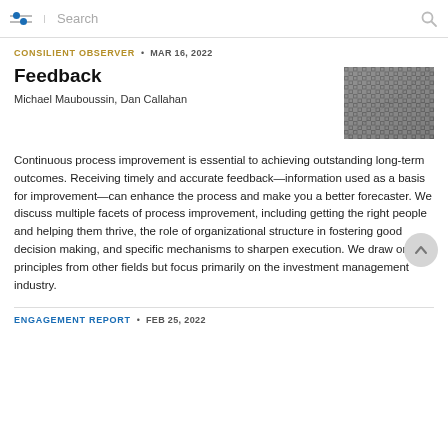Search
CONSILIENT OBSERVER • MAR 16, 2022
Feedback
Michael Mauboussin, Dan Callahan
[Figure (photo): Close-up photo of a woven carbon fiber or mesh grid material, metallic grey and black pattern, viewed at an angle.]
Continuous process improvement is essential to achieving outstanding long-term outcomes. Receiving timely and accurate feedback—information used as a basis for improvement—can enhance the process and make you a better forecaster. We discuss multiple facets of process improvement, including getting the right people and helping them thrive, the role of organizational structure in fostering good decision making, and specific mechanisms to sharpen execution. We draw on principles from other fields but focus primarily on the investment management industry.
ENGAGEMENT REPORT • FEB 25, 2022